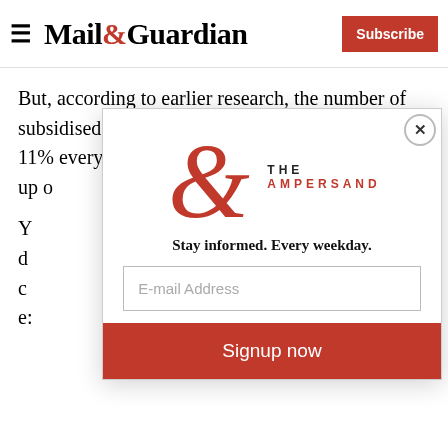Mail&Guardian | Subscribe
But, according to earlier research, the number of subsidised houses that are sold is very low – about 11% every five years. Of this, informal sales make up o
[Figure (logo): The Ampersand newsletter logo with a large red ampersand symbol and the words THE AMPERSAND in uppercase letters]
Stay informed. Every weekday.
E-mail Address
Signup now